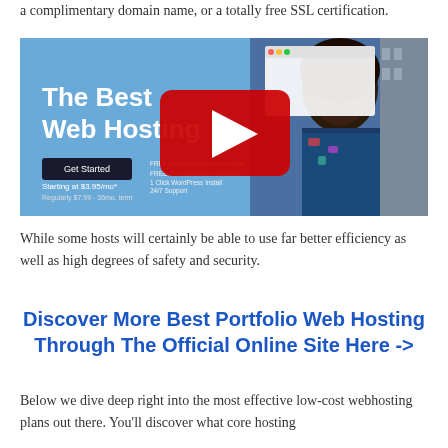a complimentary domain name, or a totally free SSL certification.
[Figure (screenshot): A YouTube video thumbnail showing a web hosting advertisement. Left side has blue background with white bold text 'The Best Web Hosting', a 'Get Started' button, and pricing 'Starting at $3.95/mo*'. A large red YouTube play button is overlaid in the center. Right side shows a man with an afro hairstyle wearing a floral shirt, and a partial browser window mockup.]
While some hosts will certainly be able to use far better efficiency as well as high degrees of safety and security.
Discover More Best Portfolio Web Hosting Through The Official Online Site Here ->
Below we dive deep right into the most effective low-cost webhosting plans out there. You'll discover what core hosting